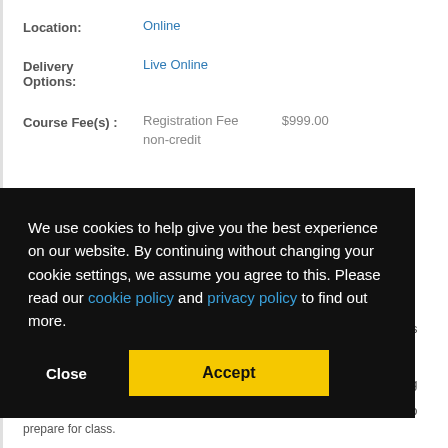Location: Online
Delivery Options: Live Online
Course Fee(s): Registration Fee non-credit $999.00
We use cookies to help give you the best experience on our website. By continuing without changing your cookie settings, we assume you agree to this. Please read our cookie policy and privacy policy to find out more.
prepare for class.